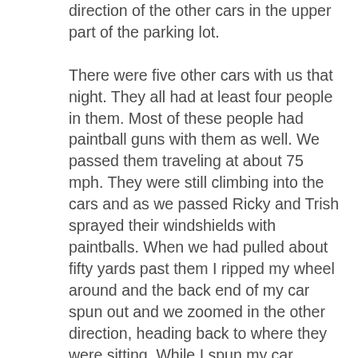direction of the other cars in the upper part of the parking lot. There were five other cars with us that night. They all had at least four people in them. Most of these people had paintball guns with them as well. We passed them traveling at about 75 mph. They were still climbing into the cars and as we passed Ricky and Trish sprayed their windshields with paintballs. When we had pulled about fifty yards past them I ripped my wheel around and the back end of my car spun out and we zoomed in the other direction, heading back to where they were sitting. While I spun my car around they started to pull out of their spots. They were already firing on each other from close range. They went in five different directions and started pulling maneuvers like I had. Dodging light posts, narrowly missing head-on collisions and spinning donuts in the parking lot, we toyed with death like it was